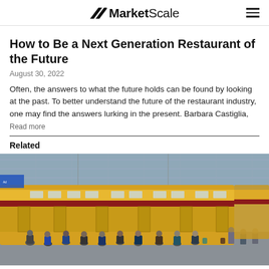MarketScale
How to Be a Next Generation Restaurant of the Future
August 30, 2022
Often, the answers to what the future holds can be found by looking at the past. To better understand the future of the restaurant industry, one may find the answers lurking in the present. Barbara Castiglia,
Read more
Related
[Figure (photo): A yellow and red train at a station platform with crowds of masked passengers boarding and walking along the platform, inside a large glass-roofed train station.]